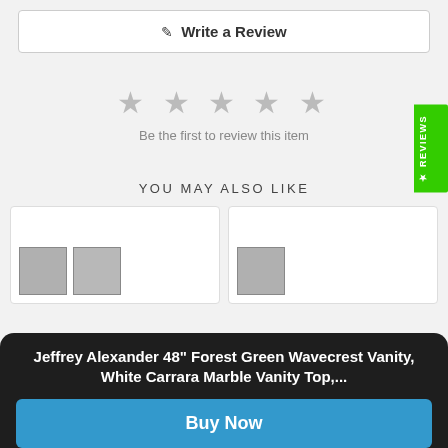✎  Write a Review
[Figure (other): Five empty/grey stars rating display]
Be the first to review this item
YOU MAY ALSO LIKE
[Figure (other): Two product card thumbnails side by side]
Jeffrey Alexander 48" Forest Green Wavecrest Vanity, White Carrara Marble Vanity Top,...
Buy Now